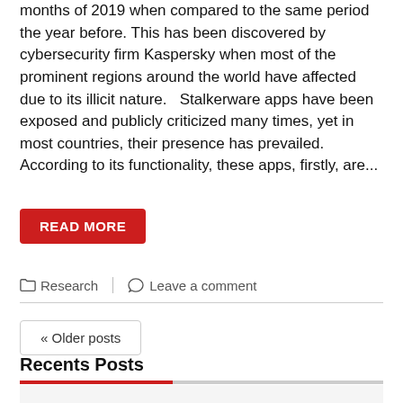months of 2019 when compared to the same period the year before. This has been discovered by cybersecurity firm Kaspersky when most of the prominent regions around the world have affected due to its illicit nature.   Stalkerware apps have been exposed and publicly criticized many times, yet in most countries, their presence has prevailed. According to its functionality, these apps, firstly, are...
READ MORE
Research  |  Leave a comment
« Older posts
Recents Posts